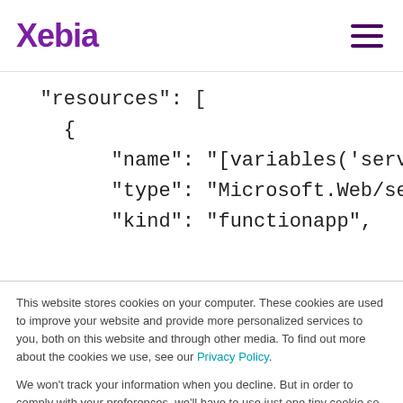Xebia
"resources": [
  {
    "name": "[variables('servicepl
    "type": "Microsoft.Web/serverf
    "kind": "functionapp",
This website stores cookies on your computer. These cookies are used to improve your website and provide more personalized services to you, both on this website and through other media. To find out more about the cookies we use, see our Privacy Policy.

We won't track your information when you decline. But in order to comply with your preferences, we'll have to use just one tiny cookie so that you're not asked to make this choice again.
Accept
Decline